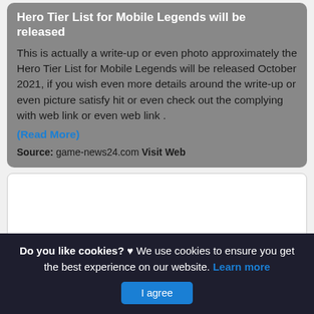Hero Tier List for Mobile Legends will be released
This is actually a write-up or even photo approximately the Hero Tier List for Mobile Legends will be released October 2021, if you wish even more details around the write-up or even picture satisfy hit or even check out the complying with web link or even web link .
(Read More)
Source: game-news24.com Visit Web
[Figure (other): Advertisement placeholder white box]
Do you like cookies? ♥ We use cookies to ensure you get the best experience on our website. Learn more
I agree